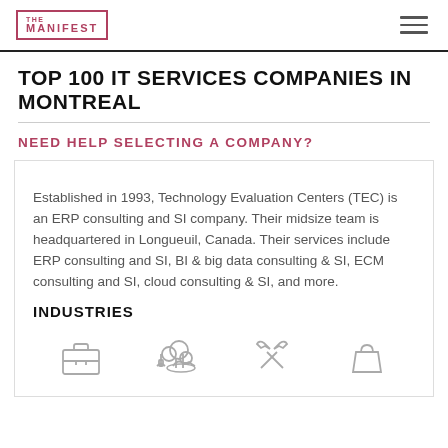THE MANIFEST
TOP 100 IT SERVICES COMPANIES IN MONTREAL
NEED HELP SELECTING A COMPANY?
Established in 1993, Technology Evaluation Centers (TEC) is an ERP consulting and SI company. Their midsize team is headquartered in Longueuil, Canada. Their services include ERP consulting and SI, BI & big data consulting & SI, ECM consulting and SI, cloud consulting & SI, and more.
INDUSTRIES
[Figure (infographic): Four industry icons: briefcase, cloud/tree, tools/wrench, shopping bag]